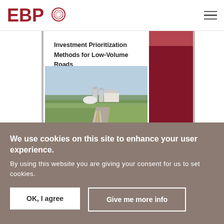[Figure (logo): EBP logo with red text and circular graphic]
[Figure (photo): Book cover for 'Investment Prioritization Methods for Low-Volume Roads' showing a straight rural road with farm buildings and silos in the background, with a dark red right panel]
We use cookies on this site to enhance your user experience. By using this website you are giving your consent for us to set cookies.
OK, I agree
Give me more info